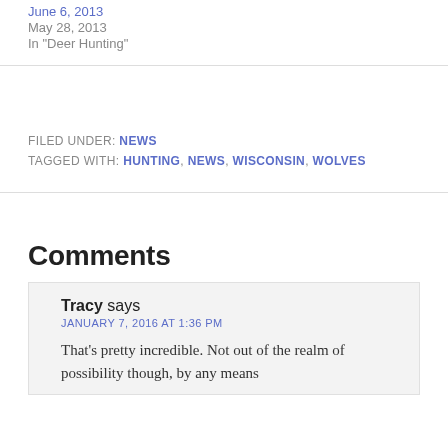June 6, 2013
May 28, 2013
In "Deer Hunting"
FILED UNDER: NEWS
TAGGED WITH: HUNTING, NEWS, WISCONSIN, WOLVES
Comments
Tracy says
JANUARY 7, 2016 AT 1:36 PM
That's pretty incredible. Not out of the realm of possibility though, by any means